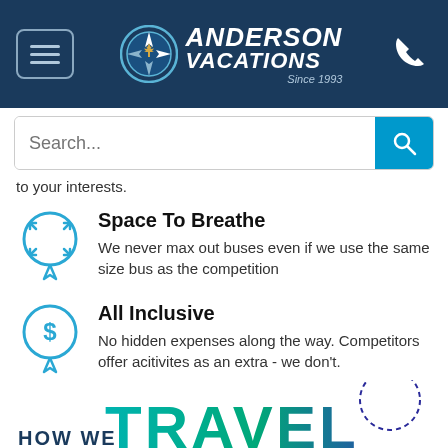[Figure (logo): Anderson Vacations logo with compass icon, text 'ANDERSON VACATIONS Since 1993' on dark navy background, with hamburger menu button and phone icon]
[Figure (screenshot): Search bar with placeholder text 'Search...' and teal search button with magnifying glass icon]
to your interests.
Space To Breathe — We never max out buses even if we use the same size bus as the competition
All Inclusive — No hidden expenses along the way. Competitors offer acitivites as an extra - we don't.
[Figure (illustration): Partial bottom banner showing 'HOW WE TRAVEL' text in large teal/navy gradient letters]